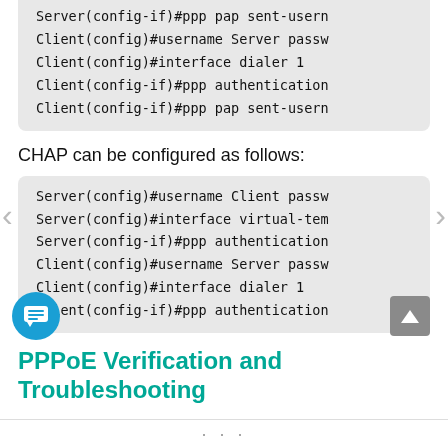Server(config-if)#ppp pap sent-usern
    Client(config)#username Server passw
    Client(config)#interface dialer 1
    Client(config-if)#ppp authentication
    Client(config-if)#ppp pap sent-usern
CHAP can be configured as follows:
Server(config)#username Client passw
    Server(config)#interface virtual-tem
    Server(config-if)#ppp authentication
    Client(config)#username Server passw
    Client(config)#interface dialer 1
    Client(config-if)#ppp authentication
PPPoE Verification and Troubleshooting